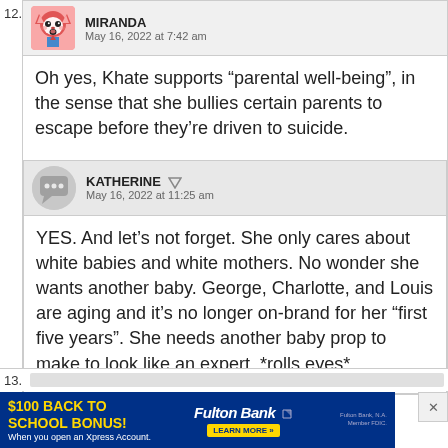12.
MIRANDA
May 16, 2022 at 7:42 am
Oh yes, Khate supports “parental well-being”, in the sense that she bullies certain parents to escape before they’re driven to suicide.
KATHERINE
May 16, 2022 at 11:25 am
YES. And let’s not forget. She only cares about white babies and white mothers. No wonder she wants another baby. George, Charlotte, and Louis are aging and it’s no longer on-brand for her “first five years”. She needs another baby prop to make to look like an expert. *rolls eyes*
13.
$100 BACK TO SCHOOL BONUS! When you open an Xpress Account. Fulton Bank LEARN MORE » Fulton Bank, N.A. Member FDIC.